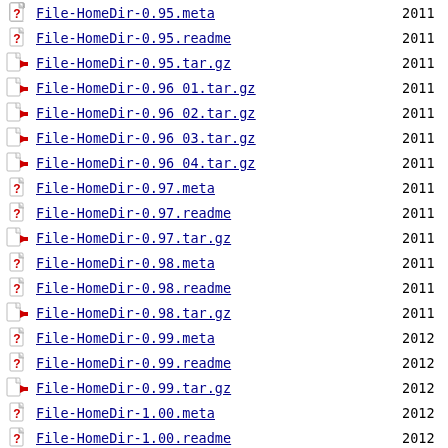File-HomeDir-0.95.meta  2011
File-HomeDir-0.95.readme  2011
File-HomeDir-0.95.tar.gz  2011
File-HomeDir-0.96_01.tar.gz  2011
File-HomeDir-0.96_02.tar.gz  2011
File-HomeDir-0.96_03.tar.gz  2011
File-HomeDir-0.96_04.tar.gz  2011
File-HomeDir-0.97.meta  2011
File-HomeDir-0.97.readme  2011
File-HomeDir-0.97.tar.gz  2011
File-HomeDir-0.98.meta  2011
File-HomeDir-0.98.readme  2011
File-HomeDir-0.98.tar.gz  2011
File-HomeDir-0.99.meta  2012
File-HomeDir-0.99.readme  2012
File-HomeDir-0.99.tar.gz  2012
File-HomeDir-1.00.meta  2012
File-HomeDir-1.00.readme  2012